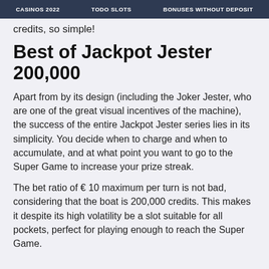CASINOS 2022   TODO SLOTS   BONUSES WITHOUT DEPOSIT
credits, so simple!
Best of Jackpot Jester 200,000
Apart from by its design (including the Joker Jester, who are one of the great visual incentives of the machine), the success of the entire Jackpot Jester series lies in its simplicity. You decide when to charge and when to accumulate, and at what point you want to go to the Super Game to increase your prize streak.
The bet ratio of € 10 maximum per turn is not bad, considering that the boat is 200,000 credits. This makes it despite its high volatility be a slot suitable for all pockets, perfect for playing enough to reach the Super Game.